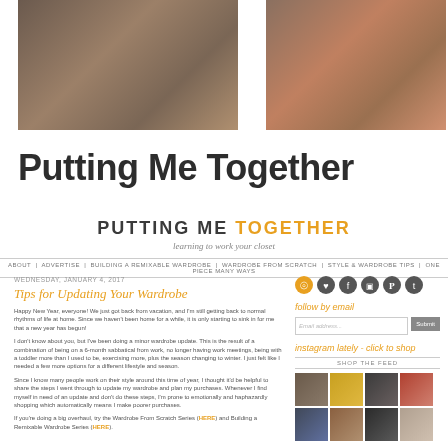[Figure (photo): Two fashion blog photos side by side at top of page — left shows a woman in patterned dress with dark background, right shows a person near a red vehicle]
Putting Me Together
PUTTING ME TOGETHER — learning to work your closet
ABOUT | ADVERTISE | BUILDING A REMIXABLE WARDROBE | WARDROBE FROM SCRATCH | STYLE & WARDROBE TIPS | ONE PIECE MANY WAYS
WEDNESDAY, JANUARY 4, 2017
Tips for Updating Your Wardrobe
Happy New Year, everyone! We just got back from vacation, and I'm still getting back to normal rhythms of life at home. Since we haven't been home for a while, it is only starting to sink in for me that a new year has begun!
I don't know about you, but I've been doing a minor wardrobe update. This is the result of a combination of being on a 6-month sabbatical from work, no longer having work meetings, being with a toddler more than I used to be, exercising more, plus the season changing to winter. I just felt like I needed a few more options for a different lifestyle and season.
Since I know many people work on their style around this time of year, I thought it'd be helpful to share the steps I went through to update my wardrobe and plan my purchases. Whenever I find myself in need of an update and don't do these steps, I'm prone to emotionally and haphazardly shopping which automatically means I make poorer purchases.
If you're doing a big overhaul, try the Wardrobe From Scratch Series (HERE) and Building a Remixable Wardrobe Series (HERE).
[Figure (infographic): Social media icons: RSS, heart, Facebook, Instagram, Pinterest, Tumblr — orange/gray circles]
follow by email
instagram lately - click to shop
[Figure (photo): Instagram shop feed grid with 8 fashion photos in 2 rows of 4]